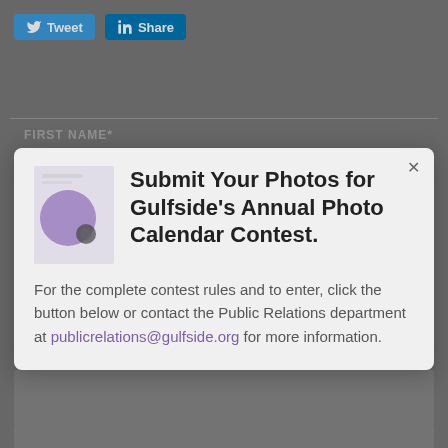[Figure (screenshot): Twitter Tweet button and LinkedIn Share button at top of page]
[Figure (screenshot): Background web form with FIRST NAME, LAST NAME, EMAIL, WEBSITE fields and a back-to-top arrow button]
Submit Your Photos for Gulfside's Annual Photo Calendar Contest.
For the complete contest rules and to enter, click the button below or contact the Public Relations department at publicrelations@gulfside.org for more information.